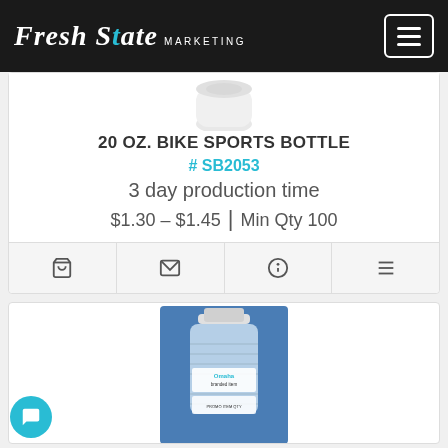Fresh State MARKETING
[Figure (photo): Partial white sports bottle top visible at top of product card]
20 OZ. BIKE SPORTS BOTTLE
# SB2053
3 day production time
$1.30 – $1.45 | Min Qty 100
[Figure (photo): Water bottle with blue label showing Omaha brand, small clear bottle with white cap]